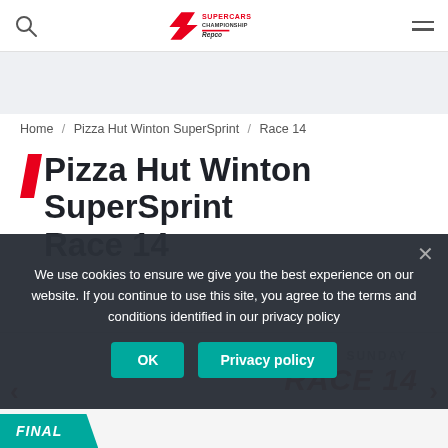Supercars Championship Repco — navigation header with search and menu icons
Home / Pizza Hut Winton SuperSprint / Race 14
Pizza Hut Winton SuperSprint Race 14
We use cookies to ensure we give you the best experience on our website. If you continue to use this site, you agree to the terms and conditions identified in our privacy policy
OK   Privacy policy
[Figure (other): Race 14 card showing SUNDAY label, RACE 14 in red italic text, and FINAL teal badge]